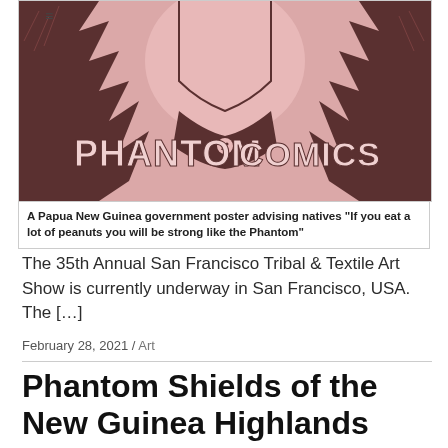[Figure (illustration): A Papua New Guinea government poster showing the Phantom comic character, with large text reading 'PHANTOM COMICS'. Pink and dark brown/black comic book art style illustration of a muscular figure.]
A Papua New Guinea government poster advising natives "If you eat a lot of peanuts you will be strong like the Phantom"
The 35th Annual San Francisco Tribal & Textile Art Show is currently underway in San Francisco, USA. The […]
February 28, 2021 / Art
Phantom Shields of the New Guinea Highlands